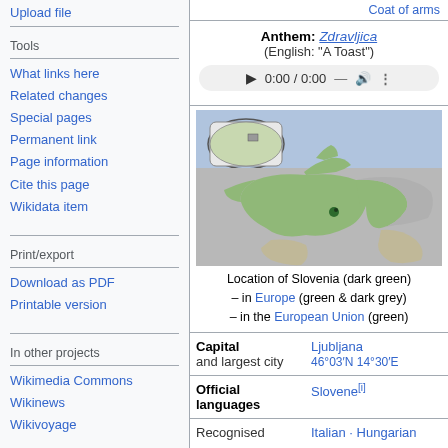Upload file
Tools
What links here
Related changes
Special pages
Permanent link
Page information
Cite this page
Wikidata item
Print/export
Download as PDF
Printable version
In other projects
Wikimedia Commons
Wikinews
Wikivoyage
Languages
Acèh
Адыгэбзэ
Алыгбзэ
Anthem: Zdravljica (English: "A Toast")
[Figure (map): Location of Slovenia (dark green) – in Europe (green & dark grey) – in the European Union (green)]
Location of Slovenia (dark green) – in Europe (green & dark grey) – in the European Union (green)
| Field | Value |
| --- | --- |
| Capital and largest city | Ljubljana 46°03′N 14°30′E |
| Official languages | Slovene[i] |
| Recognised | Italian · Hungarian |